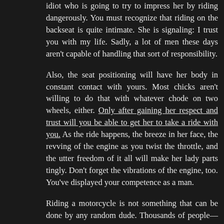idiot who is going to try to impress her by riding dangerously. You must recognize that riding on the backseat is quite intimate. She is signaling: I trust you with my life. Sadly, a lot of men these days aren't capable of handling that sort of responsibility.
Also, the seat positioning will have her body in constant contact with yours. Most chicks aren't willing to do that with whatever chode on two wheels, either. Only after gaining her respect and trust will you be able to get her to take a ride with you. As the ride happens, the breeze in her face, the revving of the engine as you twist the throttle, and the utter freedom of it all will make her lady parts tingly. Don't forget the vibrations of the engine, too. You've displayed your competence as a man.
Riding a motorcycle is not something that can be done by any random dude. Thousands of people—even long-time riders—kill themselves each year on bikes.